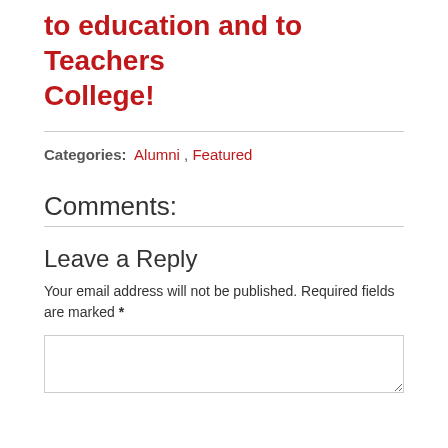to education and to Teachers College!
Categories: Alumni , Featured
Comments:
Leave a Reply
Your email address will not be published. Required fields are marked *